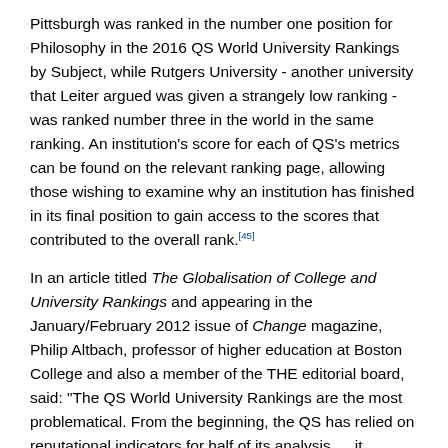Pittsburgh was ranked in the number one position for Philosophy in the 2016 QS World University Rankings by Subject, while Rutgers University - another university that Leiter argued was given a strangely low ranking - was ranked number three in the world in the same ranking. An institution's score for each of QS's metrics can be found on the relevant ranking page, allowing those wishing to examine why an institution has finished in its final position to gain access to the scores that contributed to the overall rank.[45]
In an article titled The Globalisation of College and University Rankings and appearing in the January/February 2012 issue of Change magazine, Philip Altbach, professor of higher education at Boston College and also a member of the THE editorial board, said: "The QS World University Rankings are the most problematical. From the beginning, the QS has relied on reputational indicators for half of its analysis … it probably accounts for the significant variability in the QS rankings over the years. In addition, QS queries employers, introducing even more variability and unreliability into the mix. Whether the QS rankings should be taken seriously by the higher education community is questionable."[46]
Simon Marginson, professor of higher education at University of